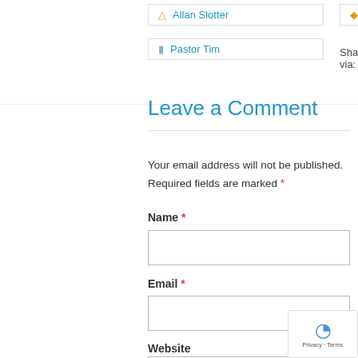Allan Slotter
Pastor Tim
God, presence
Share via:
Leave a Comment
Your email address will not be published. Required fields are marked *
Name *
Email *
Website